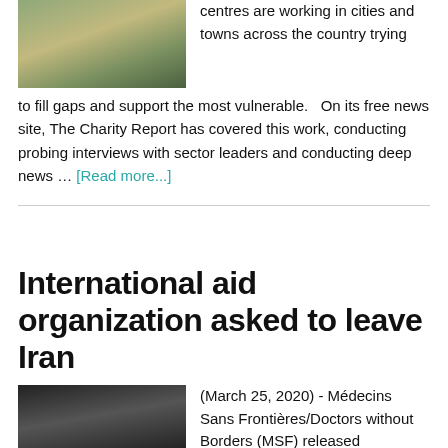[Figure (photo): Photo of stacked items outdoors, green/brown tones]
centres are working in cities and towns across the country trying to fill gaps and support the most vulnerable.   On its free news site, The Charity Report has covered this work, conducting probing interviews with sector leaders and conducting deep news … [Read more...]
International aid organization asked to leave Iran
[Figure (photo): Black and white photo of a man in dark surroundings]
(March 25, 2020) - Médecins Sans Frontières/Doctors without Borders (MSF) released